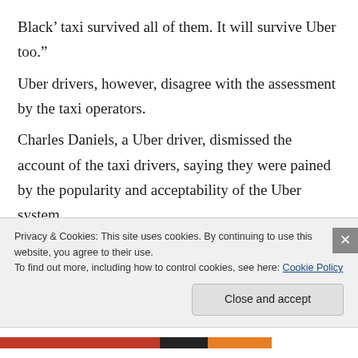Black’ taxi survived all of them. It will survive Uber too.”
Uber drivers, however, disagree with the assessment by the taxi operators.
Charles Daniels, a Uber driver, dismissed the account of the taxi drivers, saying they were pained by the popularity and acceptability of the Uber system.
“I won’t say Uber is really profitable, especially now, but it still provides food for some of us,” he said.
Privacy & Cookies: This site uses cookies. By continuing to use this website, you agree to their use.
To find out more, including how to control cookies, see here: Cookie Policy